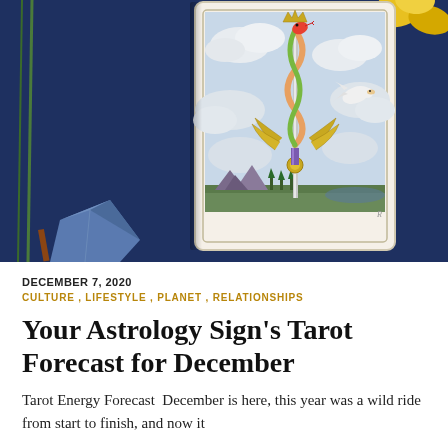[Figure (photo): Close-up photograph of a Tarot card (Ace of Swords) showing a sword wrapped by a serpent with wings at the base, a white dove flying to the right, clouds in the background, and landscape at the bottom. The card is placed on a dark blue cloth with a blue crystal and yellow flowers visible around it.]
DECEMBER 7, 2020
CULTURE , LIFESTYLE , PLANET , RELATIONSHIPS
Your Astrology Sign's Tarot Forecast for December
Tarot Energy Forecast  December is here, this year was a wild ride from start to finish, and now it